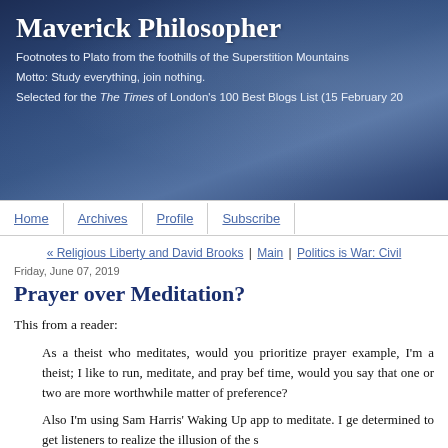Maverick Philosopher
Footnotes to Plato from the foothills of the Superstition Mountains
Motto: Study everything, join nothing.
Selected for the The Times of London's 100 Best Blogs List (15 February 20...)
Home | Archives | Profile | Subscribe
« Religious Liberty and David Brooks | Main | Politics is War: Civil...
Friday, June 07, 2019
Prayer over Meditation?
This from a reader:
As a theist who meditates, would you prioritize prayer example, I'm a theist; I like to run, meditate, and pray bef time, would you say that one or two are more worthwhile matter of preference?
Also I'm using Sam Harris' Waking Up app to meditate. I ge determined to get listeners to realize the illusion of the s